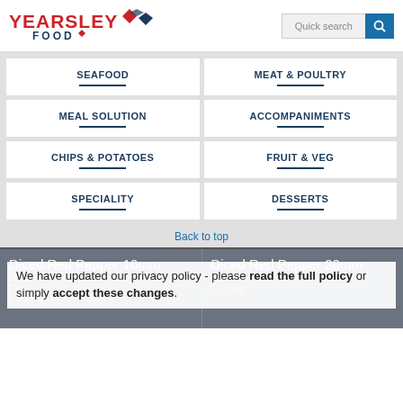[Figure (logo): Yearsley Food logo with red text and diamond shapes]
[Figure (screenshot): Quick search bar with teal search button]
SEAFOOD
MEAT & POULTRY
MEAL SOLUTION
ACCOMPANIMENTS
CHIPS & POTATOES
FRUIT & VEG
SPECIALITY
DESSERTS
Back to top
Diced Red Pepper 10mm
Bulk
Onion...
1 x 10kg
Diced Red Pepper 20mm
Bulk
1 x 10kg
We have updated our privacy policy - please read the full policy or simply accept these changes.